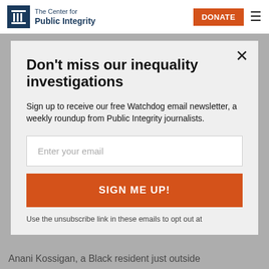The Center for Public Integrity | DONATE
Don't miss our inequality investigations
Sign up to receive our free Watchdog email newsletter, a weekly roundup from Public Integrity journalists.
Enter your email
SIGN ME UP!
Use the unsubscribe link in these emails to opt out at
Anani Kossigan, a Black resident just outside